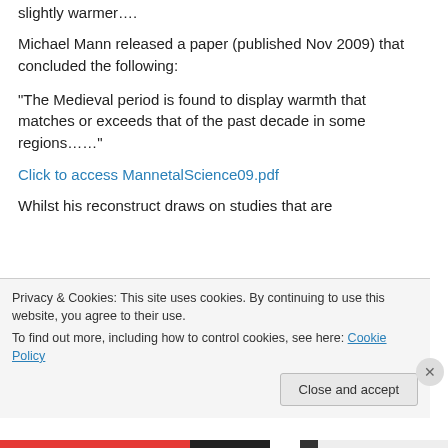slightly warmer….
Michael Mann released a paper (published Nov 2009) that concluded the following:
“The Medieval period is found to display warmth that matches or exceeds that of the past decade in some regions……”
Click to access MannetalScience09.pdf
Whilst his reconstruct draws on studies that are
Privacy & Cookies: This site uses cookies. By continuing to use this website, you agree to their use.
To find out more, including how to control cookies, see here: Cookie Policy
Close and accept